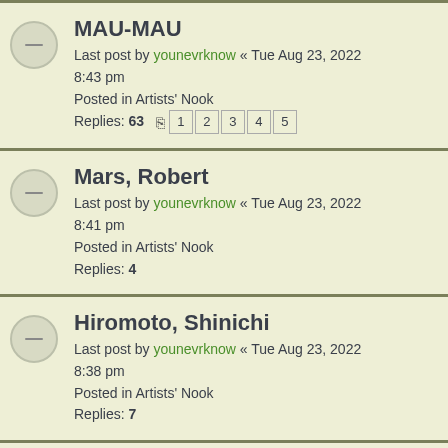MAU-MAU
Last post by younevrknow « Tue Aug 23, 2022 8:43 pm
Posted in Artists' Nook
Replies: 63
Mars, Robert
Last post by younevrknow « Tue Aug 23, 2022 8:41 pm
Posted in Artists' Nook
Replies: 4
Hiromoto, Shinichi
Last post by younevrknow « Tue Aug 23, 2022 8:38 pm
Posted in Artists' Nook
Replies: 7
Sullivan, Bill
Last post by younevrknow « Tue Aug 23, 2022